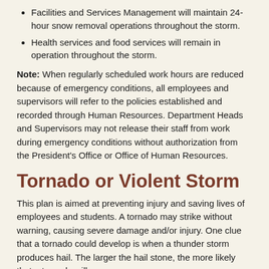Facilities and Services Management will maintain 24-hour snow removal operations throughout the storm.
Health services and food services will remain in operation throughout the storm.
Note: When regularly scheduled work hours are reduced because of emergency conditions, all employees and supervisors will refer to the policies established and recorded through Human Resources. Department Heads and Supervisors may not release their staff from work during emergency conditions without authorization from the President's Office or Office of Human Resources.
Tornado or Violent Storm
This plan is aimed at preventing injury and saving lives of employees and students. A tornado may strike without warning, causing severe damage and/or injury. One clue that a tornado could develop is when a thunder storm produces hail. The larger the hail stone, the more likely that a tornado will occur.
Definitions